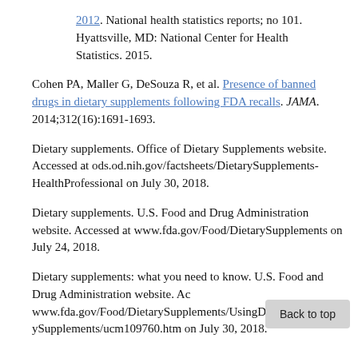2012. National health statistics reports; no 101. Hyattsville, MD: National Center for Health Statistics. 2015.
Cohen PA, Maller G, DeSouza R, et al. Presence of banned drugs in dietary supplements following FDA recalls. JAMA. 2014;312(16):1691-1693.
Dietary supplements. Office of Dietary Supplements website. Accessed at ods.od.nih.gov/factsheets/DietarySupplements-HealthProfessional on July 30, 2018.
Dietary supplements. U.S. Food and Drug Administration website. Accessed at www.fda.gov/Food/DietarySupplements on July 24, 2018.
Dietary supplements: what you need to know. U.S. Food and Drug Administration website. Accessed at www.fda.gov/Food/DietarySupplements/UsingDietarySupplements/ucm109760.htm on July 30, 2018.